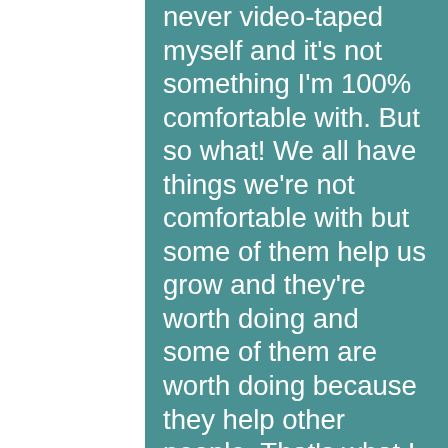never video-taped myself and it's not something I'm 100% comfortable with. But so what! We all have things we're not comfortable with but some of them help us grow and they're worth doing and some of them are worth doing because they help other people.  That's what I hope happens here.
What can you expect?  A mini-lesson direct from my living room that I hope to make fun, that's very useful, worth remembering and sharing.
What kind of lessons?  Life